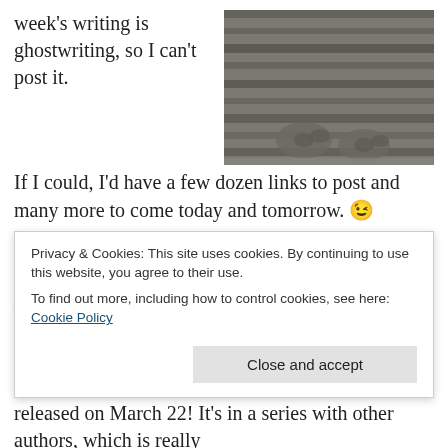week's writing is ghostwriting, so I can't post it. If I could, I'd have a few dozen links to post and many more to come today and tomorrow. 😉
[Figure (photo): Close-up photograph of a cat's striped fur and paws resting on a surface]
I do have a few posts I'll be able to share soon at Feminispire, Teaching Tolerance, Life Learning Magazine and hopefully more, so look for those in the upcoming weeks. I also just finished editing my second adult fantasy romance book, The Boon Collector, and am excited to announce it will be released on March 22! It's in a series with other authors, which is really
Privacy & Cookies: This site uses cookies. By continuing to use this website, you agree to their use.
To find out more, including how to control cookies, see here: Cookie Policy
"Fuego!" in the Dresden Files books. I look at my cat and